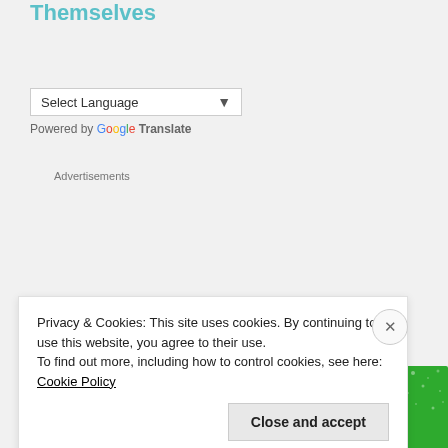Themselves
Select Language
Powered by Google Translate
Advertisements
[Figure (logo): Jetpack advertisement banner with green background, circular logo with lightning bolt icon, and text 'Jetpack' and 'We need your...']
Privacy & Cookies: This site uses cookies. By continuing to use this website, you agree to their use.
To find out more, including how to control cookies, see here: Cookie Policy
Close and accept